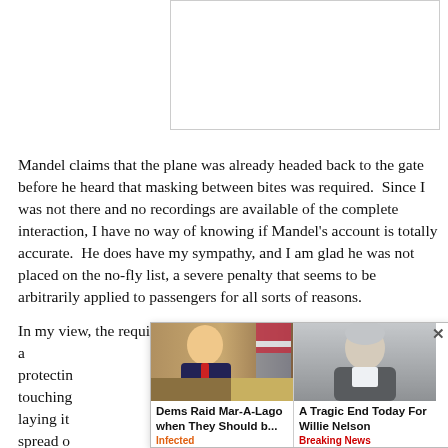[Figure (other): White rectangular placeholder image area with a border]
Mandel claims that the plane was already headed back to the gate before he heard that masking between bites was required.  Since I was not there and no recordings are available of the complete interaction, I have no way of knowing if Mandel's account is totally accurate.  He does have my sympathy, and I am glad he was not placed on the no-fly list, a severe penalty that seems to be arbitrarily applied to passengers for all sorts of reasons.
In my view, the requirement of masking between bites is asinine, arbitrary, and does no more for e than protecting at much touching and laying it d the spread o
[Figure (infographic): Ad overlay with two news thumbnails and a close button. Left ad: photo of a person at a desk, headline 'Dems Raid Mar-A-Lago when They Should b...', source 'Infected'. Right ad: photo of an elderly man, headline 'A Tragic End Today For Willie Nelson', source 'Breaking News'. Close button (x) in top right corner.]